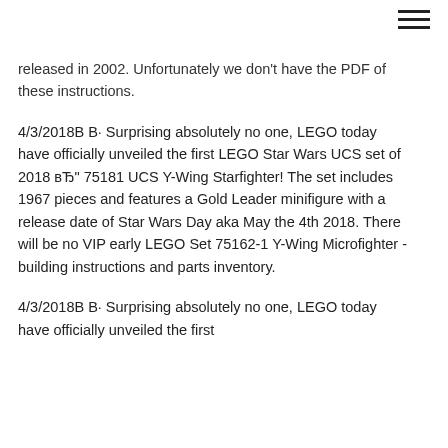≡ (hamburger menu icon)
released in 2002. Unfortunately we don't have the PDF of these instructions.
4/3/2018В В· Surprising absolutely no one, LEGO today have officially unveiled the first LEGO Star Wars UCS set of 2018 вЂ" 75181 UCS Y-Wing Starfighter! The set includes 1967 pieces and features a Gold Leader minifigure with a release date of Star Wars Day aka May the 4th 2018. There will be no VIP early LEGO Set 75162-1 Y-Wing Microfighter - building instructions and parts inventory.
4/3/2018В В· Surprising absolutely no one, LEGO today have officially unveiled the first